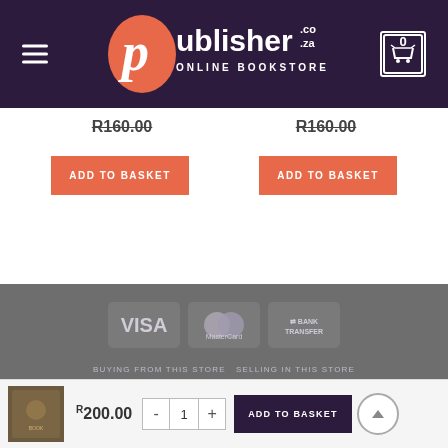[Figure (logo): Publisher.co.za Online Bookstore logo with hamburger menu and cart icon on dark purple header]
R160.00    R160.00
ADD TO BASKET    ADD TO BASKET
[Figure (infographic): Footer section with VISA, MasterCard and Bank Transfer payment icons, navigation links and copyright notice]
BUYING FROM THIS STORE   SELLING IN THIS STORE   PUBLISHING ASSISTANCE   PRIVACY POLICY   TERMS & CONDITIONS
Copyright 2022 © Publisher.co.za
R200.00
- 1 +
ADD TO BASKET